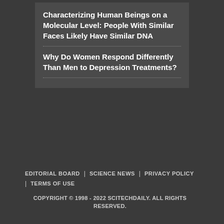Characterizing Human Beings on a Molecular Level: People With Similar Faces Likely Have Similar DNA
Why Do Women Respond Differently Than Men to Depression Treatments?
EDITORIAL BOARD | SCIENCE NEWS | PRIVACY POLICY | TERMS OF USE
COPYRIGHT © 1998 - 2022 SCITECHDAILY. ALL RIGHTS RESERVED.